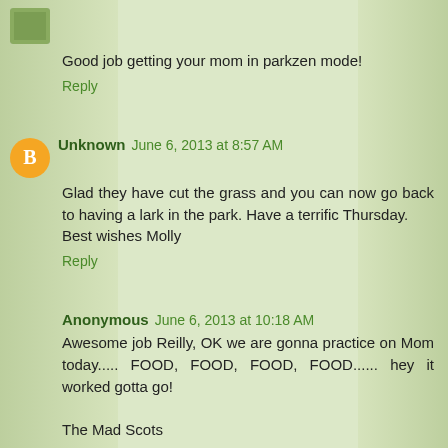Good job getting your mom in parkzen mode!
Reply
Unknown  June 6, 2013 at 8:57 AM
Glad they have cut the grass and you can now go back to having a lark in the park. Have a terrific Thursday.
Best wishes Molly
Reply
Anonymous  June 6, 2013 at 10:18 AM
Awesome job Reilly, OK we are gonna practice on Mom today..... FOOD, FOOD, FOOD, FOOD...... hey it worked gotta go!

The Mad Scots
Reply